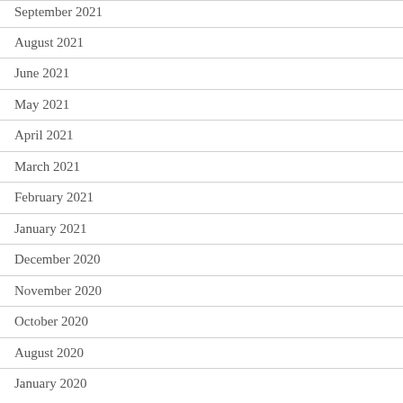September 2021
August 2021
June 2021
May 2021
April 2021
March 2021
February 2021
January 2021
December 2020
November 2020
October 2020
August 2020
January 2020